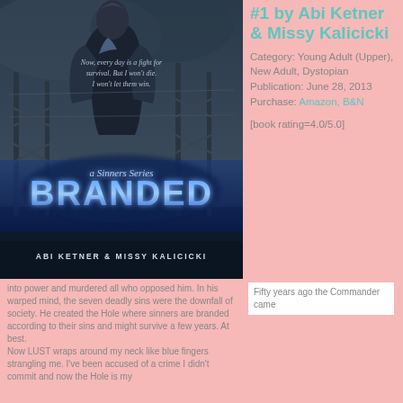[Figure (illustration): Book cover of 'Branded: A Sinners Series' by Abi Ketner & Missy Kalicicki. Dark dystopian cover showing a figure from behind with barbed wire fence. Title 'BRANDED' in large blue glowing text. Authors' names at bottom.]
#1 by Abi Ketner & Missy Kalicicki
Category: Young Adult (Upper), New Adult, Dystopian Publication: June 28, 2013 Purchase: Amazon, B&N
[book rating=4.0/5.0]
Fifty years ago the Commander came into power and murdered all who opposed him. In his warped mind, the seven deadly sins were the downfall of society. He created the Hole where sinners are branded according to their sins and might survive a few years. At best. Now LUST wraps around my neck like blue fingers strangling me. I've been accused of a crime I didn't commit and now the Hole is my